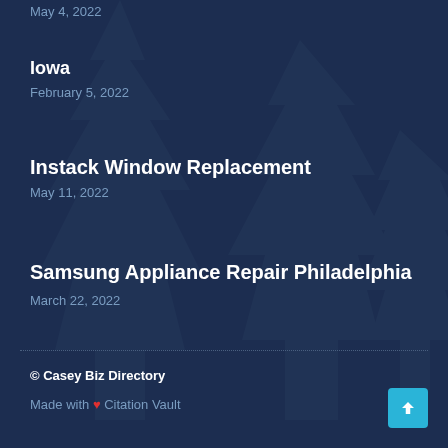May 4, 2022
Iowa
February 5, 2022
Instack Window Replacement
May 11, 2022
Samsung Appliance Repair Philadelphia
March 22, 2022
© Casey Biz Directory
Made with ❤ Citation Vault